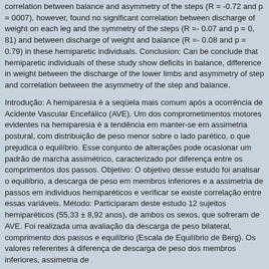correlation between balance and asymmetry of the steps (R = -0.72 and p = 0007), however, found no significant correlation between discharge of weight on each leg and the symmetry of the steps (R =- 0.07 and p = 0, 81) and between discharge of weight and balance (R =- 0.08 and p = 0.79) in these hemiparetic individuals. Conclusion: Can be conclude that hemiparetic individuals of these study show deficits in balance, difference in weight between the discharge of the lower limbs and asymmetry of step and correlation between the asymmetry of the step and balance.
Introdução: A hemiparesia é a seqüela mais comum após a ocorrência de Acidente Vascular Encefálico (AVE). Um dos comprometimentos motores evidentes na hemiparesia é a tendência em manter-se em assimetria postural, com distribuição de peso menor sobre o lado parético, o que prejudica o equilíbrio. Esse conjunto de alterações pode ocasionar um padrão de marcha assimétrico, caracterizado por diferença entre os comprimentos dos passos. Objetivo: O objetivo desse estudo foi analisar o equilíbrio, a descarga de peso em membros inferiores e a assimetria de passos em individuos hemiparéticos e verificar se existe correlação entre essas variáveis. Método: Participaram deste estudo 12 sujeitos hemiparéticos (55,33 ± 8,92 anos), de ambos os sexos, que sofreram de AVE. Foi realizada uma avaliação da descarga de peso bilateral, comprimento dos passos e equilíbrio (Escala de Equilíbrio de Berg). Os valores referentes à diferença de descarga de peso dos membros inferiores, assimetria de